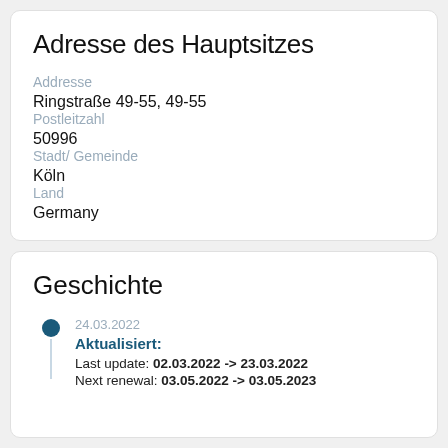Adresse des Hauptsitzes
Addresse
Ringstraße 49-55, 49-55
Postleitzahl
50996
Stadt/ Gemeinde
Köln
Land
Germany
Geschichte
24.03.2022
Aktualisiert:
Last update: 02.03.2022 -> 23.03.2022
Next renewal: 03.05.2022 -> 03.05.2023